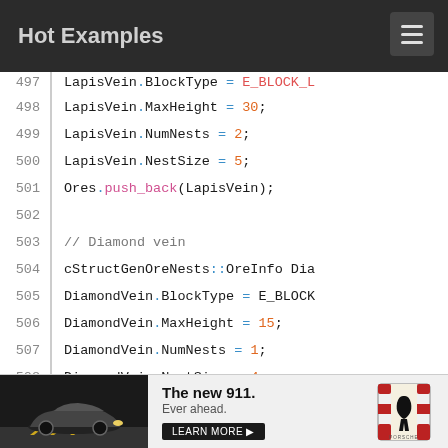Hot Examples
[Figure (screenshot): Source code viewer showing C++ code lines 497-513 with syntax highlighting. Lines show LapisVein and DiamondVein ore generation struct assignments, and a push_back call for m_FinishGens.]
[Figure (photo): Porsche advertisement banner showing a new 911 car with text 'The new 911. Ever ahead.' and a LEARN MORE button.]